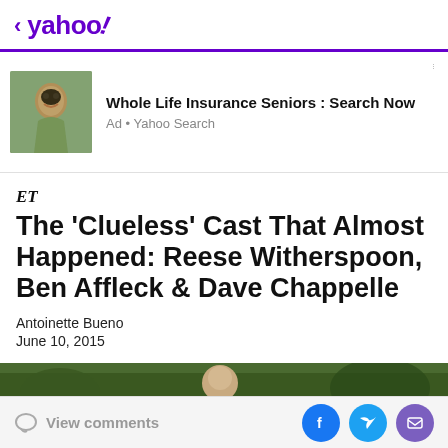< yahoo!
[Figure (advertisement): Ad banner with photo of smiling young Black man outdoors. Ad title: Whole Life Insurance Seniors : Search Now. Ad source: Yahoo Search.]
ET
The 'Clueless' Cast That Almost Happened: Reese Witherspoon, Ben Affleck & Dave Chappelle
Antoinette Bueno
June 10, 2015
[Figure (photo): Partial view of outdoor scene, bottom of article image]
View comments | social share icons: Facebook, Twitter, Email